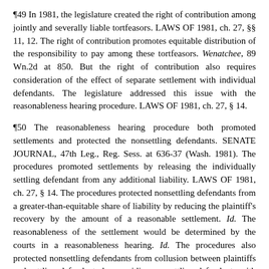¶49 In 1981, the legislature created the right of contribution among jointly and severally liable tortfeasors. LAWS OF 1981, ch. 27, §§ 11, 12. The right of contribution promotes equitable distribution of the responsibility to pay among these tortfeasors. Wenatchee, 89 Wn.2d at 850. But the right of contribution also requires consideration of the effect of separate settlement with individual defendants. The legislature addressed this issue with the reasonableness hearing procedure. LAWS OF 1981, ch. 27, § 14.
¶50 The reasonableness hearing procedure both promoted settlements and protected the nonsettling defendants. SENATE JOURNAL, 47th Leg., Reg. Sess. at 636-37 (Wash. 1981). The procedures promoted settlements by releasing the individually settling defendant from any additional liability. LAWS OF 1981, ch. 27, § 14. The procedures protected nonsettling defendants from a greater-than-equitable share of liability by reducing the plaintiff's recovery by the amount of a reasonable settlement. Id. The reasonableness of the settlement would be determined by the courts in a reasonableness hearing. Id. The procedures also protected nonsettling defendants from collusion between plaintiffs and settling defendants by providing nonsettling defendants with notice of the terms of the settlement and an opportunity to be heard at the reasonableness hearing. Id.
¶51 In this equitable context of contribution among joint